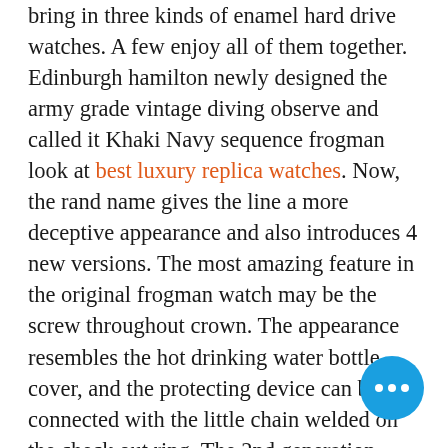bring in three kinds of enamel hard drive watches. A few enjoy all of them together. Edinburgh hamilton newly designed the army grade vintage diving observe and called it Khaki Navy sequence frogman look at best luxury replica watches. Now, the rand name gives the line a more deceptive appearance and also introduces 4 new versions. The most amazing feature in the original frogman watch may be the screw throughout crown. The appearance resembles the hot drinking water bottle cover, and the protecting device can be connected with the little chain welded on the check out ring. The 2nd generation frogman Replica richard mille rm 029 lemans, released in 2016, is equipped with any crown officer with a built/in locking program and a one-way rotating viser. The new sit back and watch is still designed with a distinctive the queen's guard, however the design is promoting considerably. The particular with crown is certainly protected with a link structure to make sure excellent water-